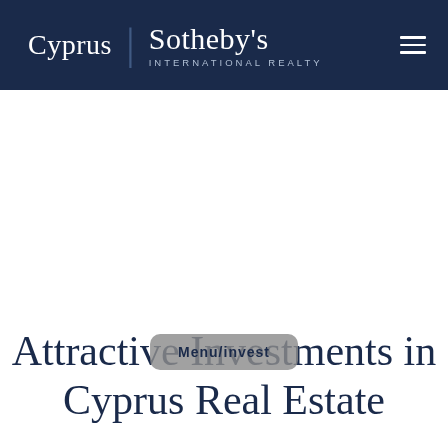Cyprus | Sotheby's International Realty
Attractive Investments in Cyprus Real Estate